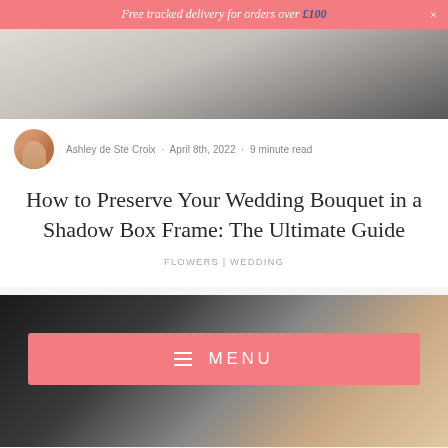Free tracked delivery for orders over £100  ×
[Figure (photo): Top portion of a blog article hero image showing a light interior with a dark vase]
Ashley de Ste Croix · April 8th, 2022 · 9 minute read
How to Preserve Your Wedding Bouquet in a Shadow Box Frame: The Ultimate Guide
FLOWERS | WEDDING
[Figure (photo): Bottom section showing a wedding photo with hands, ring, and floral details, overlaid with a coral/salmon colored MENU button with hamburger icon]